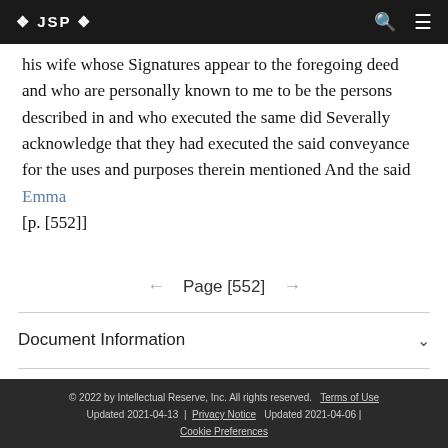❖ JSP ❖
his wife whose Signatures appear to the foregoing deed and who are personally known to me to be the persons described in and who executed the same did Severally acknowledge that they had executed the said conveyance for the uses and purposes therein mentioned And the said Emma [p. [552]]
← Page [552] →
Document Information
© 2022 by Intellectual Reserve, Inc. All rights reserved.   Terms of Use   Updated 2021-04-13 |   Privacy Notice   Updated 2021-04-06 |   Cookie Preferences